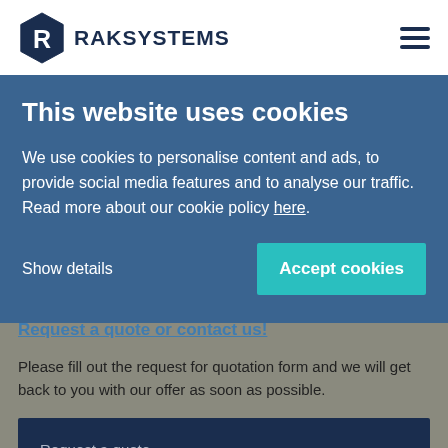[Figure (logo): RAKSYSTEMS logo with hexagon shield shape containing letter R, company name in dark blue]
This website uses cookies
We use cookies to personalise content and ads, to provide social media features and to analyse our traffic. Read more about our cookie policy here.
Show details
Accept cookies
Request a quote or contact us!
Please fill out the request for quotation form and we will get back to you with our offer as soon as possible.
Request a quote →
Our customer service is available at our nationwide customer service number as weekdays from 8:00...